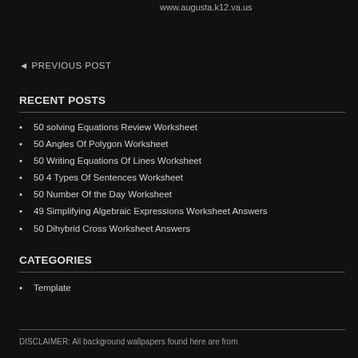www.augusta.k12.va.us
◄ PREVIOUS POST
RECENT POSTS
50 solving Equations Review Worksheet
50 Angles Of Polygon Worksheet
50 Writing Equations Of Lines Worksheet
50 4 Types Of Sentences Worksheet
50 Number Of the Day Worksheet
49 Simplifying Algebraic Expressions Worksheet Answers
50 Dihybrid Cross Worksheet Answers
CATEGORIES
Template
DISCLAIMER: All background wallpapers found here are from